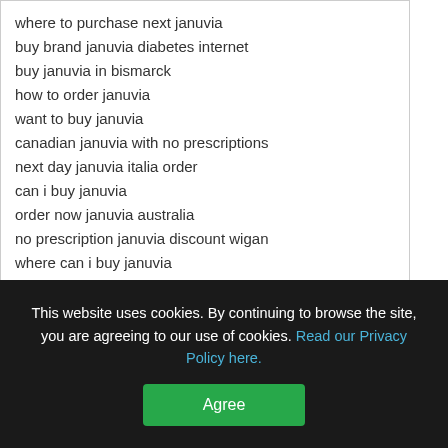where to purchase next januvia
buy brand januvia diabetes internet
buy januvia in bismarck
how to order januvia
want to buy januvia
canadian januvia with no prescriptions
next day januvia italia order
can i buy januvia
order now januvia australia
no prescription januvia discount wigan
where can i buy januvia
januvia in uk fast delivery
can i purchase januvia
cost of januvia disease smpc
fast delivery of januvia
to buy januvia shop sale
This website uses cookies. By continuing to browse the site, you are agreeing to our use of cookies. Read our Privacy Policy here.